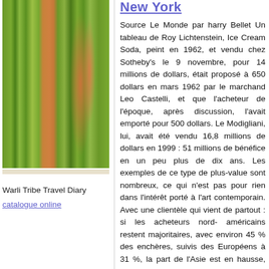[Figure (photo): Outdoor photo showing grass/field with what appears to be an orange garment or figure in the background]
Warli Tribe Travel Diary
catalogue online
New York
Source Le Monde par harry Bellet
Un tableau de Roy Lichtenstein, Ice Cream Soda, peint en 1962, et vendu chez Sotheby's le 9 novembre, pour 14 millions de dollars, était proposé à 650 dollars en mars 1962 par le marchand Leo Castelli, et que l'acheteur de l'époque, après discussion, l'avait emporté pour 500 dollars. Le Modigliani, lui, avait été vendu 16,8 millions de dollars en 1999 : 51 millions de bénéfice en un peu plus de dix ans.
Les exemples de ce type de plus-value sont nombreux, ce qui n'est pas pour rien dans l'intérêt porté à l'art contemporain. Avec une clientèle qui vient de partout : si les acheteurs nord-américains restent majoritaires, avec environ 45 % des enchères, suivis des Européens à 31 %, la part de l'Asie est en hausse, avec 6 %, et surtout, celle